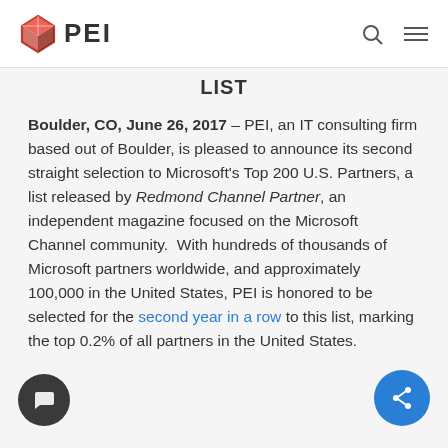PEI
LIST
Boulder, CO, June 26, 2017 – PEI, an IT consulting firm based out of Boulder, is pleased to announce its second straight selection to Microsoft's Top 200 U.S. Partners, a list released by Redmond Channel Partner, an independent magazine focused on the Microsoft Channel community.  With hundreds of thousands of Microsoft partners worldwide, and approximately 100,000 in the United States, PEI is honored to be selected for the second year in a row to this list, marking the top 0.2% of all partners in the United States.